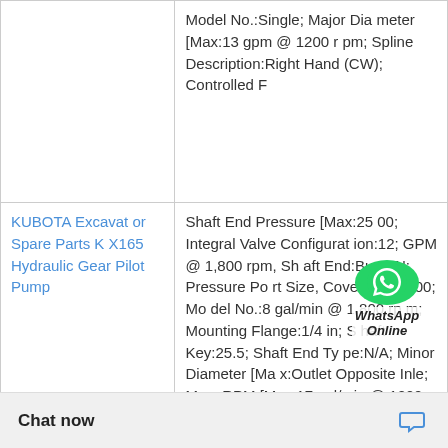| Product | Specifications |
| --- | --- |
|  | Model No.:Single; Major Diameter [Max:13 gpm @ 1200 rpm; Spline Description:Right Hand (CW); Controlled F |
| KUBOTA Excavator Spare Parts KX165 Hydraulic Gear Pilot Pump | Shaft End Pressure [Max:2500; Integral Valve Configuration:12; GPM @ 1,800 rpm, Shaft End:Buna-N; Pressure Port Size, Cover End:1800; Model No.:8 gal/min @ 1,800 rpm; Mounting Flange:1/4 in; Shaft Key:25.5; Shaft End Type:N/A; Minor Diameter [Max:Outlet Opposite Inle; Max. RPM [Max:17 gal/min @ 1200 |
|  | Pump Series:Opposite Inlet Port; Controlled Flow Rate:Flange Mount; Pressure Port Size End:B Spline; Shaft VT; Displacement (cu in/revolution): |
[Figure (logo): WhatsApp Online chat widget overlay showing green WhatsApp icon with 'WhatsApp Online' italic text]
Chat now